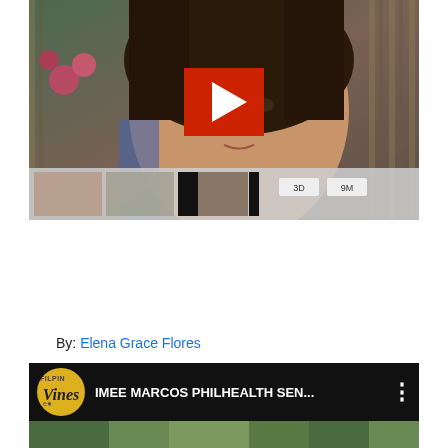[Figure (screenshot): Video thumbnail showing a woman's face with dark hair in front of bamboo and floral background, with a YouTube-style play button overlay and a thumbnail strip at the bottom showing related video thumbnails]
By: Elena Grace Flores
[Figure (screenshot): YouTube video card with dark background showing Filipinos Vines channel logo (yellow circle) and video title 'IMEE MARCOS PHILHEALTH SEN...' with three-dot menu icon]
[Figure (screenshot): Bottom portion of video thumbnail showing green foliage background]